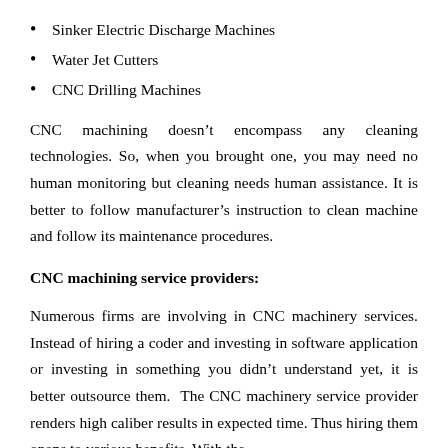Sinker Electric Discharge Machines
Water Jet Cutters
CNC Drilling Machines
CNC machining doesn’t encompass any cleaning technologies. So, when you brought one, you may need no human monitoring but cleaning needs human assistance. It is better to follow manufacturer’s instruction to clean machine and follow its maintenance procedures.
CNC machining service providers:
Numerous firms are involving in CNC machinery services. Instead of hiring a coder and investing in software application or investing in something you didn’t understand yet, it is better outsource them.  The CNC machinery service provider renders high caliber results in expected time. Thus hiring them opens to various benefits. With the